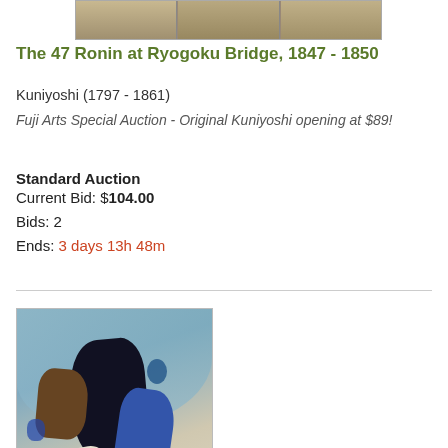[Figure (photo): Top cropped image strip showing triptych panels of woodblock print artwork]
The 47 Ronin at Ryogoku Bridge, 1847 - 1850
Kuniyoshi (1797 - 1861)
Fuji Arts Special Auction - Original Kuniyoshi opening at $89!
Standard Auction
Current Bid: $104.00
Bids: 2
Ends: 3 days 13h 48m
[Figure (photo): Japanese woodblock print showing warrior characters coming to life, dramatic scene with multiple figures in traditional garb]
Artist's Characters Coming to Life, 1853
Kuniyoshi (1797 - 1861)